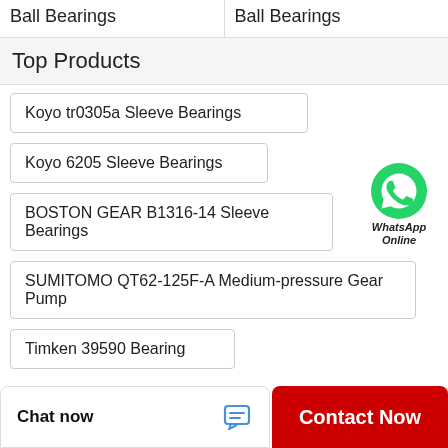Ball Bearings
Ball Bearings
Top Products
Koyo tr0305a Sleeve Bearings
Koyo 6205 Sleeve Bearings
BOSTON GEAR B1316-14 Sleeve Bearings
[Figure (logo): WhatsApp green circle phone icon with text 'WhatsApp Online' below]
SUMITOMO QT62-125F-A Medium-pressure Gear Pump
Timken 39590 Bearing
Chat now
Contact Now